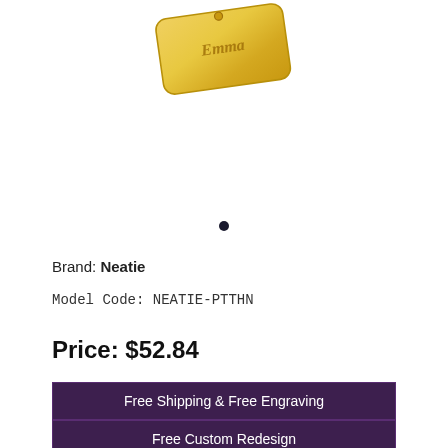[Figure (photo): Gold pendant/tag with engraved text, partially visible at top of page]
Brand: Neatie
Model Code: NEATIE-PTTHN
Price: $52.84
Free Shipping & Free Engraving
Free Custom Redesign
Free Giftbox